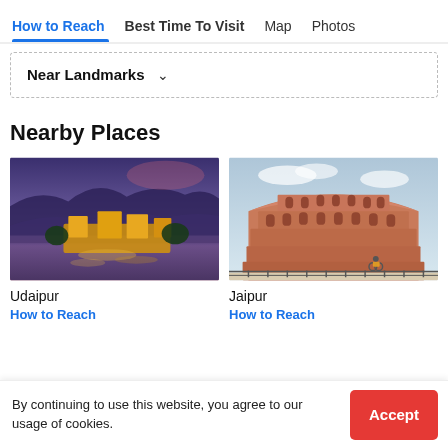How to Reach | Best Time To Visit | Map | Photos
Near Landmarks ∨
Nearby Places
[Figure (photo): Aerial view of Udaipur city at dusk with lake and illuminated palace]
Udaipur
How to Reach
[Figure (photo): Hawa Mahal (Palace of Winds) in Jaipur, pink sandstone facade]
Jaipur
How to Reach
By continuing to use this website, you agree to our usage of cookies.